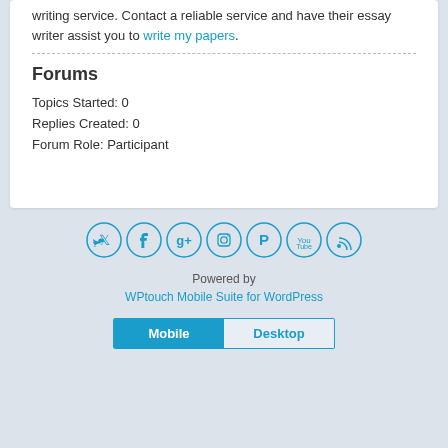writing service. Contact a reliable service and have their essay writer assist you to write my papers.
Forums
Topics Started: 0
Replies Created: 0
Forum Role: Participant
[Figure (other): Social media icon buttons: Twitter, Facebook, Google+, Instagram, Pinterest, YouTube, RSS]
Powered by
WPtouch Mobile Suite for WordPress
Mobile  Desktop